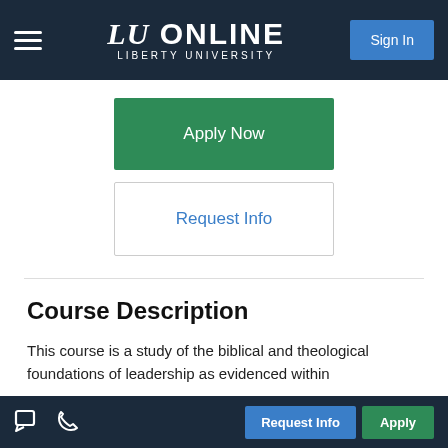LU ONLINE LIBERTY UNIVERSITY | Sign In
Apply Now
Request Info
Course Description
This course is a study of the biblical and theological foundations of leadership as evidenced within
Request Info | Apply